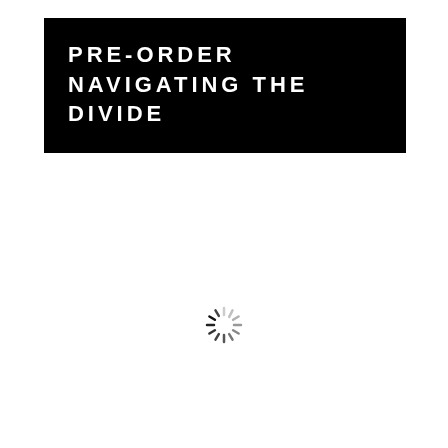PRE-ORDER NAVIGATING THE DIVIDE
[Figure (other): Loading spinner / activity indicator graphic — a circular arrangement of radial lines in varying shades of gray, resembling a CSS/animated loading spinner frozen mid-rotation.]